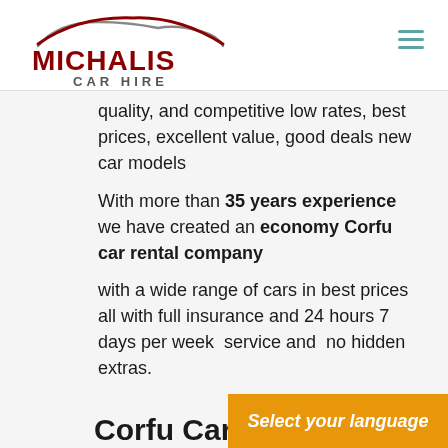[Figure (logo): Michalis Car Hire logo with stylized car silhouette above bold red text MICHALIS and gray text CAR HIRE]
quality, and competitive low rates, best prices, excellent value, good deals new car models
With more than 35 years experience we have created an economy Corfu car rental company with a wide range of cars in best prices all with full insurance and 24 hours 7 days per week  service and  no hidden extras.
Corfu Car Re...